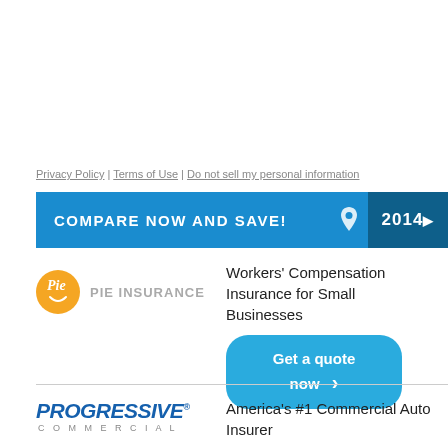Privacy Policy | Terms of Use | Do not sell my personal information
COMPARE NOW AND SAVE! 20147
[Figure (logo): Pie Insurance logo — orange circle with 'Pie' text and smile, followed by 'PIE INSURANCE' in gray]
Workers' Compensation Insurance for Small Businesses
Get a quote now
[Figure (logo): Progressive Commercial logo — blue italic bold PROGRESSIVE with registered trademark, COMMERCIAL subtitle in gray]
America's #1 Commercial Auto Insurer